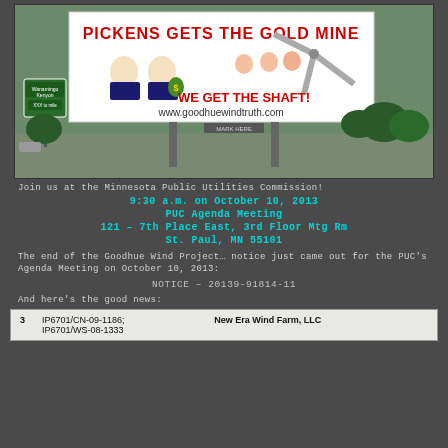[Figure (photo): Billboard photo along a highway. The billboard reads 'PICKENS GETS THE GOLD MINE' in large red text with cartoon figures, and 'WE GET THE SHAFT!' in red, with URL www.goodhuewindtruth.com. Green highway sign visible on the left. Trees in background.]
Join us at the Minnesota Public Utilities Commission!
9:30 a.m. on October 10, 2013
PUC Agenda Meeting
121 – 7th Place East, 3rd Floor Mtg Rm
St. Paul, MN  55101
The end of the Goodhue Wind Project… notice just came out for the PUC's Agenda Meeting on October 10, 2013:
NOTICE – 20139-91814-11
And here's the good news:
| # | Case Number | Party |
| --- | --- | --- |
| 3 | IP6701/CN-09-1186;
IP6701/WS-08-1333 | New Era Wind Farm, LLC |